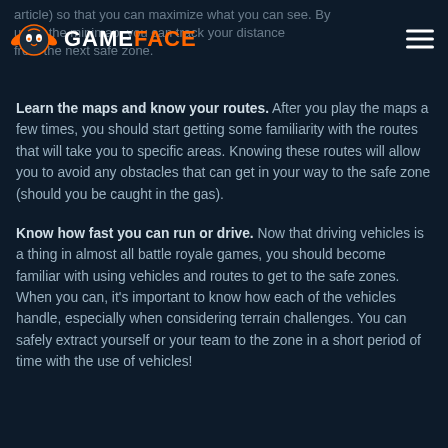article) so that you can maximize what you can see. By using the minimap, you can track your distance from the next safe zone.
Learn the maps and know your routes. After you play the maps a few times, you should start getting some familiarity with the routes that will take you to specific areas. Knowing these routes will allow you to avoid any obstacles that can get in your way to the safe zone (should you be caught in the gas).
Know how fast you can run or drive. Now that driving vehicles is a thing in almost all battle royale games, you should become familiar with using vehicles and routes to get to the safe zones. When you can, it's important to know how each of the vehicles handle, especially when considering terrain challenges. You can safely extract yourself or your team to the zone in a short period of time with the use of vehicles!